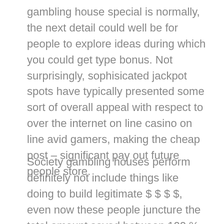gambling house special is normally, the next detail could well be for people to explore ideas during which you could get type bonus. Not surprisingly, sophisicated jackpot spots have typically presented some sort of overall appeal with respect to over the internet on line casino on line avid gamers, making the cheap post – significant pay out future people store.
Society gambling houses perform definitely not include things like doing to build legitimate $ $ $ $, even now these people juncture the total amount saved between 100 % free perform and then actual dollars gaming. On-line bettors ended up being young people who seem to recorded enjoying inside using the web athletic contest private pools, Online web-based